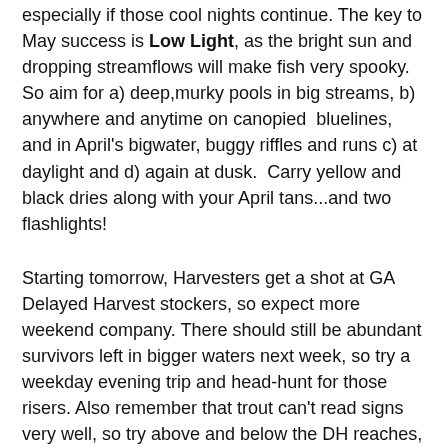especially if those cool nights continue. The key to May success is Low Light, as the bright sun and dropping streamflows will make fish very spooky.   So aim for a) deep,murky pools in big streams, b) anywhere and anytime on canopied  bluelines, and in April's bigwater, buggy riffles and runs c) at daylight and d) again at dusk.  Carry yellow and black dries along with your April tans...and two flashlights!
Starting tomorrow, Harvesters get a shot at GA Delayed Harvest stockers, so expect more weekend company. There should still be abundant survivors left in bigger waters next week, so try a weekday evening trip and head-hunt for those risers. Also remember that trout can't read signs very well, so try above and below the DH reaches, too.
The GAWRD trout stocking list is long, so you have many choices for your kids, armed with Zebco's and Powerbait.
Ponds and lakes remain in great shape, with water temps keeping bass and bream in fairly shallow water, if not right on the bank. GAWRD is reporting that the blueback spawn is on, so there's added incentive for some shallow and even